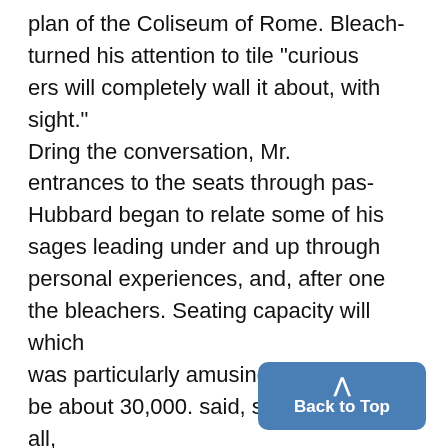plan of the Coliseum of Rome. Bleach- turned his attention to tile "curious ers will completely wall it about, with sight." Dring the conversation, Mr. entrances to the seats through pas- Hubbard began to relate some of his sages leading under and up through personal experiences, and, after one the bleachers. Seating capacity will which was particularly amusing, he be about 30,000. said, suddenly, "After all, we are The base ball diamond, with gr every one of us. I am a
Back to Top